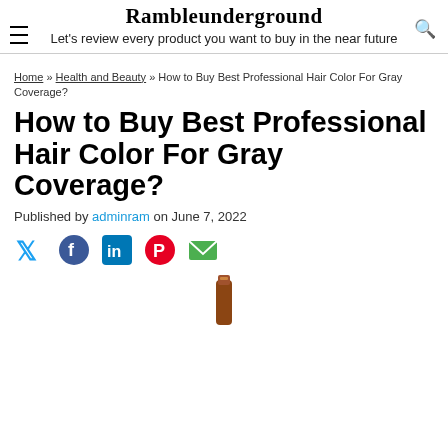Rambleunderground
Let's review every product you want to buy in the near future
Home » Health and Beauty » How to Buy Best Professional Hair Color For Gray Coverage?
How to Buy Best Professional Hair Color For Gray Coverage?
Published by adminram on June 7, 2022
[Figure (other): Social share icons: Twitter (blue bird), Facebook (blue), LinkedIn (blue square), Pinterest (red), Email (green envelope)]
[Figure (photo): Partial product image at bottom of page]